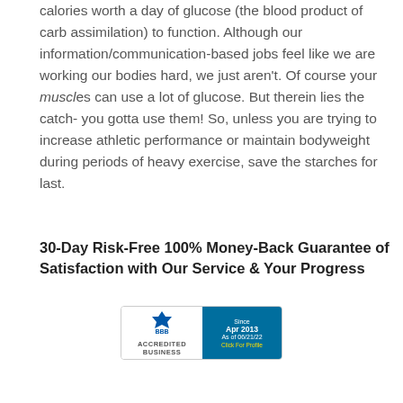calories worth a day of glucose (the blood product of carb assimilation) to function. Although our information/communication-based jobs feel like we are working our bodies hard, we just aren't. Of course your muscles can use a lot of glucose. But therein lies the catch- you gotta use them! So, unless you are trying to increase athletic performance or maintain bodyweight during periods of heavy exercise, save the starches for last.
30-Day Risk-Free 100% Money-Back Guarantee of Satisfaction with Our Service & Your Progress
[Figure (logo): BBB Accredited Business badge with torch logo on left and blue panel on right showing 'Since Apr 2013, As of 06/21/22, Click For Profile']